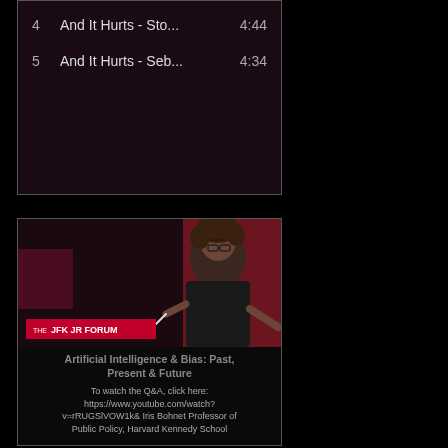4   And It Hurts - Sto...   4:44
5   And It Hurts - Seb...   4:34
[Figure (photo): Screenshot of JFK Jr Forum video thumbnail featuring a woman speaking at a podium with curly hair and glasses, dark clothing, red curtain background. Red banner at bottom reads THE JFK JR FORUM.]
Artificial Intelligence & Bias: Past, Present & Future
To watch the Q&A, click here: https://www.youtube.com/watch?v=rRUGSlVOW1k& Iris Bohnet Professor of Public Policy, Harvard Kennedy School